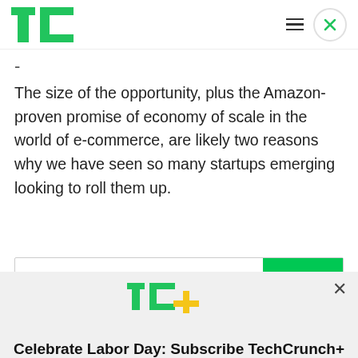TechCrunch navigation bar with TC logo, hamburger menu, and close button
The size of the opportunity, plus the Amazon-proven promise of economy of scale in the world of e-commerce, are likely two reasons why we have seen so many startups emerging looking to roll them up.
[Figure (screenshot): TechCrunch+ subscription modal overlay with TC+ logo, 'Celebrate Labor Day: Subscribe TechCrunch+ Today Only for $90/Year.' headline, and 'GET OFFER NOW' yellow button on gray background]
Celebrate Labor Day: Subscribe TechCrunch+ Today Only for $90/Year.
GET OFFER NOW